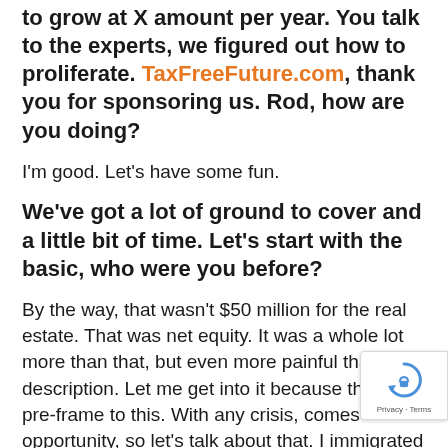to grow at X amount per year. You talk to the experts, we figured out how to proliferate. TaxFreeFuture.com, thank you for sponsoring us. Rod, how are you doing?
I'm good. Let's have some fun.
We've got a lot of ground to cover and a little bit of time. Let's start with the basic, who were you before?
By the way, that wasn't $50 million for the real estate. That was net equity. It was a whole lot more than that, but even more painful than your description. Let me get into it because this is a pre-frame to this. With any crisis, comes opportunity, so let's talk about that. I immigrated to this country when I was six years old with my brother,